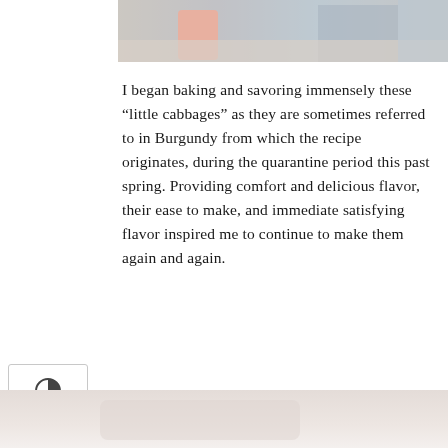[Figure (photo): Top portion of a kitchen scene, partially visible at the top of the page]
I began baking and savoring immensely these “little cabbages” as they are sometimes referred to in Burgundy from which the recipe originates, during the quarantine period this past spring. Providing comfort and delicious flavor, their ease to make, and immediate satisfying flavor inspired me to continue to make them again and again.
[Figure (photo): Kitchen scene with a terracotta pot, glass cups on a countertop with blue cabinets in the background]
[Figure (photo): Blurred close-up of a dish or food item at the bottom of the page]